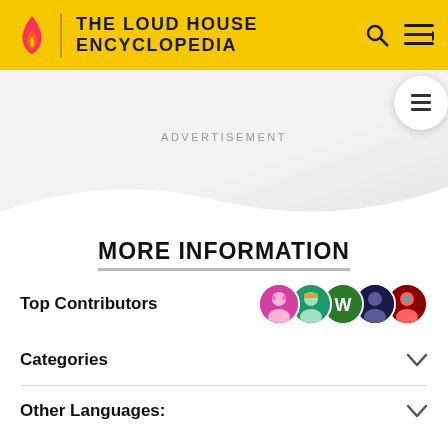THE LOUD HOUSE ENCYCLOPEDIA
ADVERTISEMENT
MORE INFORMATION
Top Contributors
Categories
Other Languages:
Community content is available under CC-BY-SA unless otherwise noted.